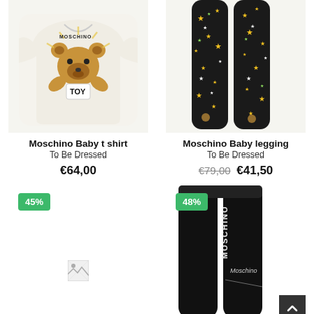[Figure (photo): Moschino Baby t-shirt with teddy bear graphic, cream/white color, partially cropped at top]
Moschino Baby t shirt
To Be Dressed
€64,00
[Figure (photo): Black leggings with stars and teddy bear pattern (Moschino Baby), partially cropped at top]
Moschino Baby legging
To Be Dressed
€79,00 €41,50
[Figure (photo): 45% discount badge green, broken image placeholder for second product in bottom left]
[Figure (photo): 48% discount badge green, black Moschino leggings with brand logo text, partially shown]